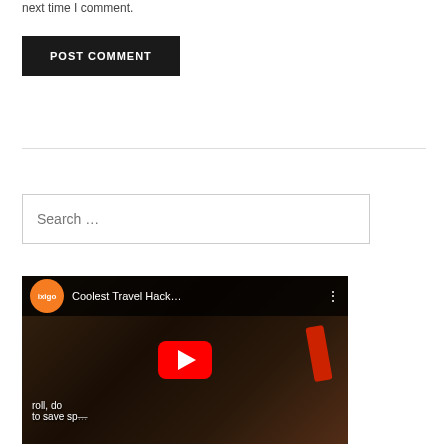next time I comment.
POST COMMENT
Search …
[Figure (screenshot): YouTube video thumbnail showing 'Coolest Travel Hack...' by ixigo channel, with a red play button overlay. Background shows hands packing a suitcase with a red item visible. Text overlay reads 'roll, do... to save sp...']